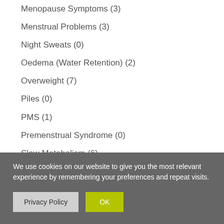Menopause Symptoms (3)
Menstrual Problems (3)
Night Sweats (0)
Oedema (Water Retention) (2)
Overweight (7)
Piles (0)
PMS (1)
Premenstrual Syndrome (0)
Slow Metabolism (6)
Thrush (5)
We use cookies on our website to give you the most relevant experience by remembering your preferences and repeat visits.